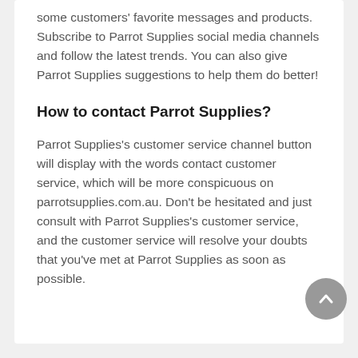some customers' favorite messages and products. Subscribe to Parrot Supplies social media channels and follow the latest trends. You can also give Parrot Supplies suggestions to help them do better!
How to contact Parrot Supplies?
Parrot Supplies's customer service channel button will display with the words contact customer service, which will be more conspicuous on parrotsupplies.com.au. Don't be hesitated and just consult with Parrot Supplies's customer service, and the customer service will resolve your doubts that you've met at Parrot Supplies as soon as possible.